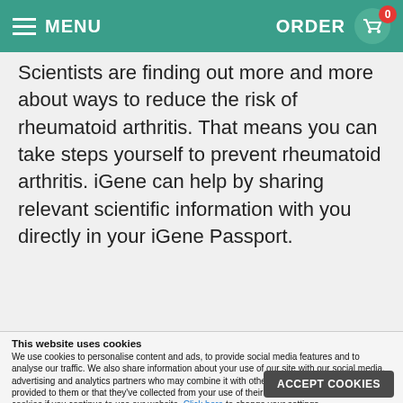MENU | ORDER 0
Scientists are finding out more and more about ways to reduce the risk of rheumatoid arthritis. That means you can take steps yourself to prevent rheumatoid arthritis. iGene can help by sharing relevant scientific information with you directly in your iGene Passport.
This website uses cookies
We use cookies to personalise content and ads, to provide social media features and to analyse our traffic. We also share information about your use of our site with our social media, advertising and analytics partners who may combine it with other information that you've provided to them or that they've collected from your use of their services. You consent to our cookies if you continue to use our website. Click here to change your settings.